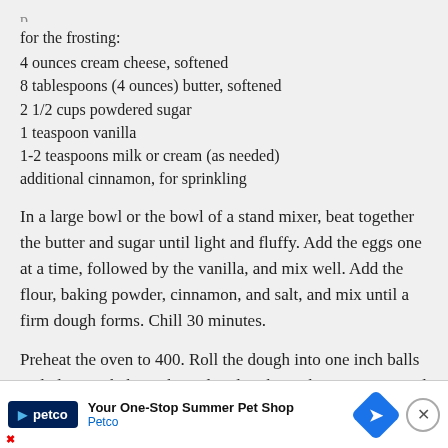for the frosting:
4 ounces cream cheese, softened
8 tablespoons (4 ounces) butter, softened
2 1/2 cups powdered sugar
1 teaspoon vanilla
1-2 teaspoons milk or cream (as needed)
additional cinnamon, for sprinkling
In a large bowl or the bowl of a stand mixer, beat together the butter and sugar until light and fluffy. Add the eggs one at a time, followed by the vanilla, and mix well. Add the flour, baking powder, cinnamon, and salt, and mix until a firm dough forms. Chill 30 minutes.
Preheat the oven to 400. Roll the dough into one inch balls and place on baking sheets lined with parchment or sprayed with cooking spray.
[Figure (other): Advertisement banner for Petco: 'Your One-Stop Summer Pet Shop' with Petco logo, a blue navigation arrow icon, and a close button.]